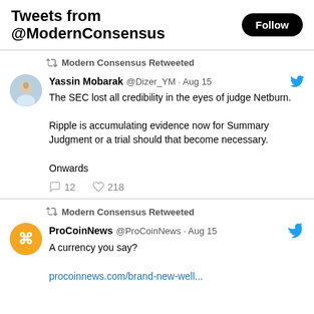Tweets from @ModernConsensus
Modern Consensus Retweeted
Yassin Mobarak @Dizer_YM · Aug 15
The SEC lost all credibility in the eyes of judge Netburn.

Ripple is accumulating evidence now for Summary Judgment or a trial should that become necessary.

Onwards
12  218
Modern Consensus Retweeted
ProCoinNews @ProCoinNews · Aug 15
A currency you say?

procoinnews.com/brand-new-well...